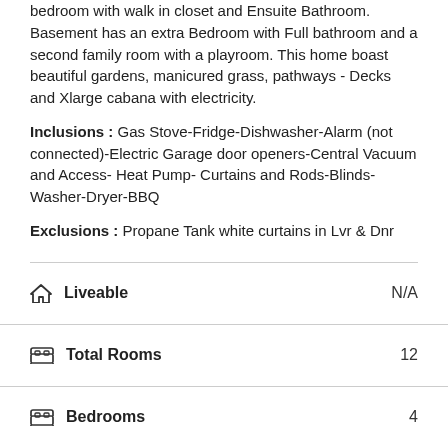bedroom with walk in closet and Ensuite Bathroom. Basement has an extra Bedroom with Full bathroom and a second family room with a playroom. This home boast beautiful gardens, manicured grass, pathways - Decks and Xlarge cabana with electricity.
Inclusions : Gas Stove-Fridge-Dishwasher-Alarm (not connected)-Electric Garage door openers-Central Vacuum and Access- Heat Pump- Curtains and Rods-Blinds-Washer-Dryer-BBQ
Exclusions : Propane Tank white curtains in Lvr & Dnr
| Feature | Value |
| --- | --- |
| Liveable | N/A |
| Total Rooms | 12 |
| Bedrooms | 4 |
| Bathrooms | 3 |
| Powder Rooms | 1 |